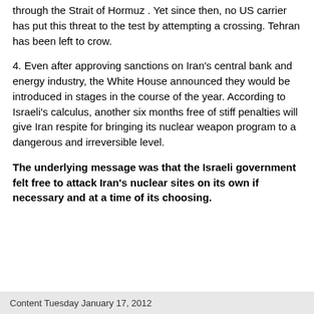through the Strait of Hormuz . Yet since then, no US carrier has put this threat to the test by attempting a crossing. Tehran has been left to crow.
4. Even after approving sanctions on Iran's central bank and energy industry, the White House announced they would be introduced in stages in the course of the year. According to Israeli's calculus, another six months free of stiff penalties will give Iran respite for bringing its nuclear weapon program to a dangerous and irreversible level.
The underlying message was that the Israeli government felt free to attack Iran's nuclear sites on its own if necessary and at a time of its choosing.
Content Tuesday January 17, 2012